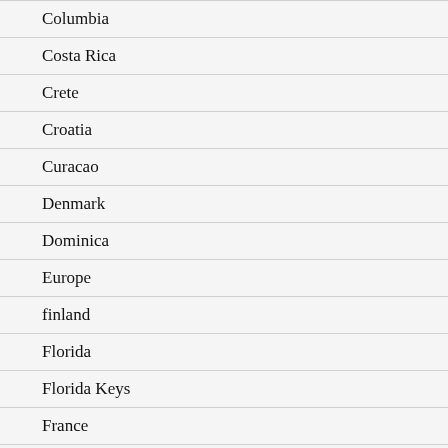Columbia
Costa Rica
Crete
Croatia
Curacao
Denmark
Dominica
Europe
finland
Florida
Florida Keys
France
Greece